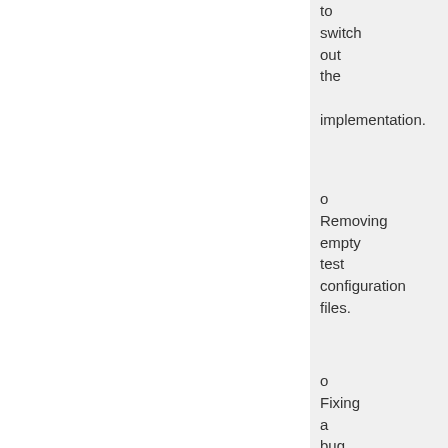to switch out the implementation.
o Removing empty test configuration files.
o Fixing a bug in the Maven 1 project builder where a project